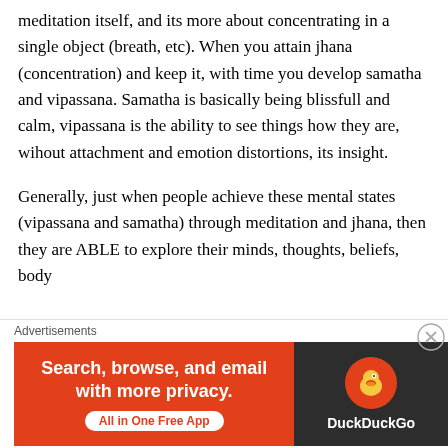meditation itself, and its more about concentrating in a single object (breath, etc). When you attain jhana (concentration) and keep it, with time you develop samatha and vipassana. Samatha is basically being blissfull and calm, vipassana is the ability to see things how they are, wihout attachment and emotion distortions, its insight.
Generally, just when people achieve these mental states (vipassana and samatha) through meditation and jhana, then they are ABLE to explore their minds, thoughts, beliefs, body
Advertisements
[Figure (other): DuckDuckGo advertisement banner. Left orange section reads 'Search, browse, and email with more privacy. All in One Free App'. Right dark section shows DuckDuckGo duck logo and brand name.]